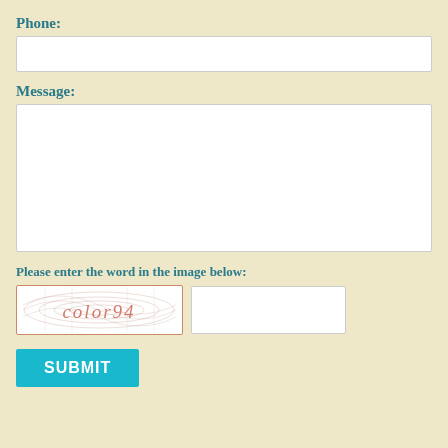Phone:
[Figure (other): Empty phone input text field]
Message:
[Figure (other): Empty message textarea field]
Please enter the word in the image below:
[Figure (other): CAPTCHA image showing the text 'color94' with swirling background lines]
[Figure (other): Empty CAPTCHA text input field]
SUBMIT